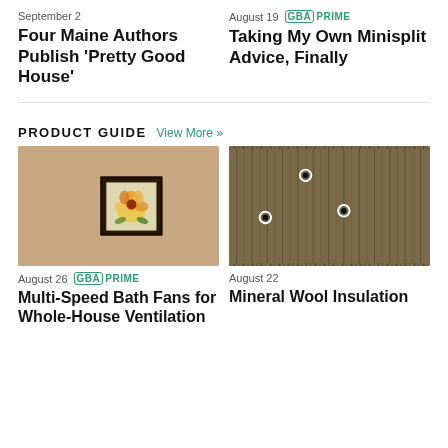September 2
Four Maine Authors Publish ‘Pretty Good House’
August 19
Taking My Own Minisplit Advice, Finally
PRODUCT GUIDE View More »
[Figure (photo): Interior room with a framed flower painting on a tan/beige wall]
August 26 GBA PRIME
Multi-Speed Bath Fans for Whole-House Ventilation
[Figure (photo): Close-up of mineral wool insulation board with circular fasteners, person in background]
August 22
Mineral Wool Insulation